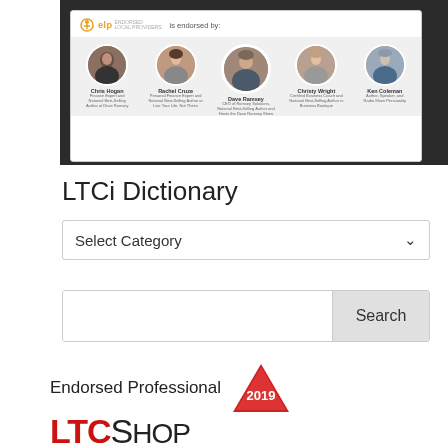[Figure (screenshot): Screenshot of ELP (endorsed local providers) website showing 'is endorsed by:' with circular headshots and names of Chris Hogan, Rachel Cruze, Dave Ramsey, Christy Wright, and Ken Coleman]
LTCi Dictionary
[Figure (other): Dropdown select box labeled 'Select Category' with a chevron arrow]
[Figure (other): Search input box with a 'Search' button on the right]
[Figure (logo): Endorsed Professional 2019 LTCShop logo with red triangle badge showing '2019' and red LTC text followed by black Shop text]